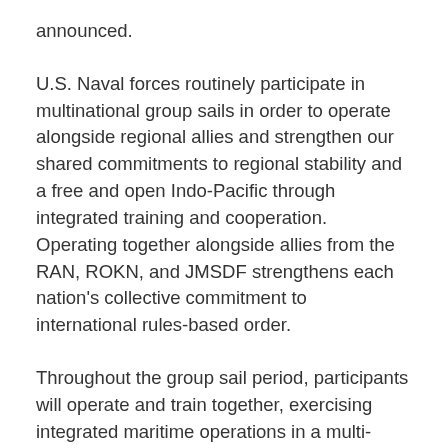announced.
U.S. Naval forces routinely participate in multinational group sails in order to operate alongside regional allies and strengthen our shared commitments to regional stability and a free and open Indo-Pacific through integrated training and cooperation. Operating together alongside allies from the RAN, ROKN, and JMSDF strengthens each nation's collective commitment to international rules-based order.
Throughout the group sail period, participants will operate and train together, exercising integrated maritime operations in a multi-domain warfighting environment. Professional integrated engagements allows the U.S. Navy and allies the opportunity to build upon existing strong relationships and improve collective readiness and response to any situation